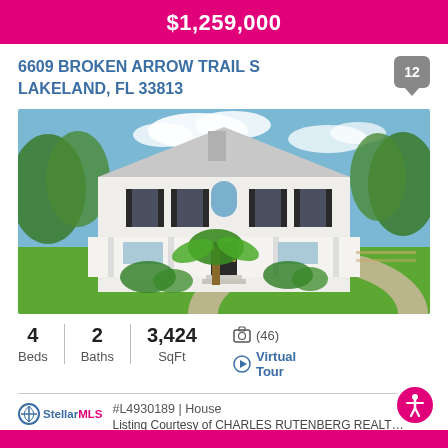$1,259,000
6609 BROKEN ARROW TRAIL S
LAKELAND, FL 33813
[Figure (photo): Two-story white colonial-style house with black shutters, wraparound porch, circular gravel driveway, palm tree in front, lush green lawn and trees in background.]
4 Beds  |  2 Baths  |  3,424 SqFt
(46)
Virtual Tour
#L4930189 | House
Listing Courtesy of CHARLES RUTENBERG REALT…